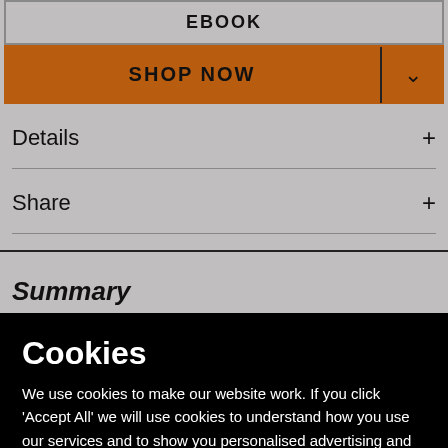EBOOK
SHOP NOW
Details
Share
Summary
Cookies
We use cookies to make our website work. If you click 'Accept All' we will use cookies to understand how you use our services and to show you personalised advertising and other content. You can change your cookie settings by clicking 'Manage Cookies'. For more information please see our cookie policy